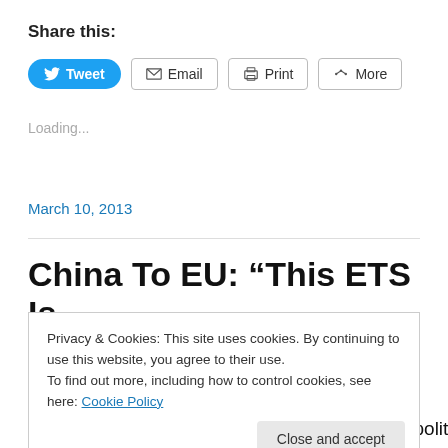Share this:
[Figure (screenshot): Social share buttons: Tweet (blue), Email, Print, More]
Loading...
March 10, 2013
China To EU: “This ETS Is
Privacy & Cookies: This site uses cookies. By continuing to use this website, you agree to their use.
To find out more, including how to control cookies, see here: Cookie Policy
Close and accept
Those noble saviours of Planet Earth, the EU political